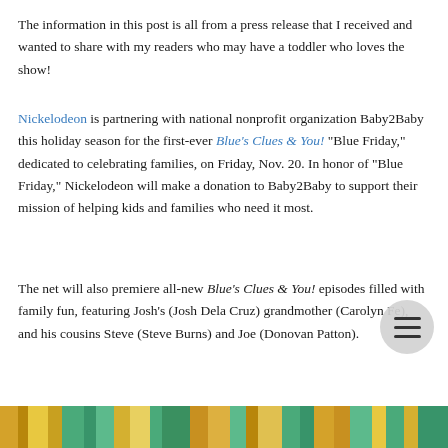The information in this post is all from a press release that I received and wanted to share with my readers who may have a toddler who loves the show!
Nickelodeon is partnering with national nonprofit organization Baby2Baby this holiday season for the first-ever Blue's Clues & You! "Blue Friday," dedicated to celebrating families, on Friday, Nov. 20. In honor of "Blue Friday," Nickelodeon will make a donation to Baby2Baby to support their mission of helping kids and families who need it most.
The net will also premiere all-new Blue's Clues & You! episodes filled with family fun, featuring Josh's (Josh Dela Cruz) grandmother (Carolyn Fe), and his cousins Steve (Steve Burns) and Joe (Donovan Patton).
[Figure (photo): Colorful bottom strip image, partially visible, appears to show a character or scene from Blue's Clues & You with green and yellow tones.]